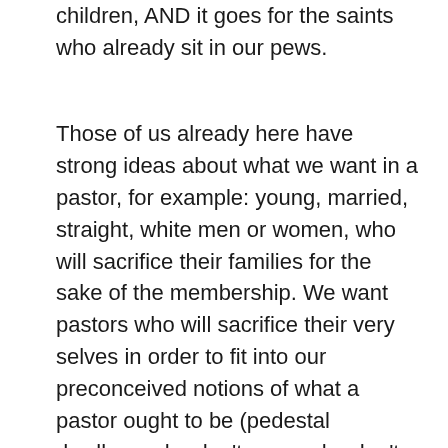children, AND it goes for the saints who already sit in our pews.
Those of us already here have strong ideas about what we want in a pastor, for example: young, married, straight, white men or women, who will sacrifice their families for the sake of the membership. We want pastors who will sacrifice their very selves in order to fit into our preconceived notions of what a pastor ought to be (pedestal dwellers, who don't cuss, who don't drink, who don't sin, moral exemplars for us to follow … and then to demonize when they fail to live up to our unrealistic expectations). They should know when we are sick or sad or hospitalized without our having to inform them of it. They shouldn't be too pushy or intrude on our private lives. They shouldn't talk about money, but they need to help us be good financial stewards. They shouldn't talk about politics, but they should let us rant and rave about